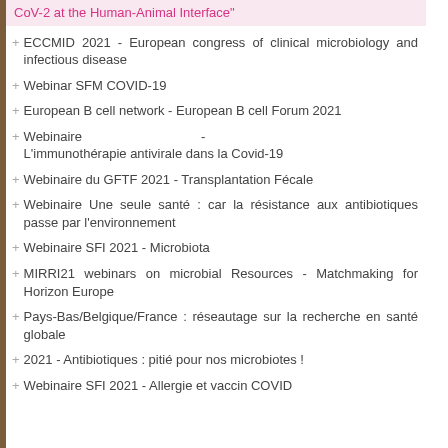CoV-2 at the Human-Animal Interface" (highlighted)
ECCMID 2021 - European congress of clinical microbiology and infectious disease
Webinar SFM COVID-19
European B cell network - European B cell Forum 2021
Webinaire - L'immunothérapie antivirale dans la Covid-19
Webinaire du GFTF 2021 - Transplantation Fécale
Webinaire Une seule santé : car la résistance aux antibiotiques passe par l'environnement
Webinaire SFI 2021 - Microbiota
MIRRI21 webinars on microbial Resources - Matchmaking for Horizon Europe
Pays-Bas/Belgique/France : réseautage sur la recherche en santé globale
2021 - Antibiotiques : pitié pour nos microbiotes !
Webinaire SFI 2021 - Allergie et vaccin COVID